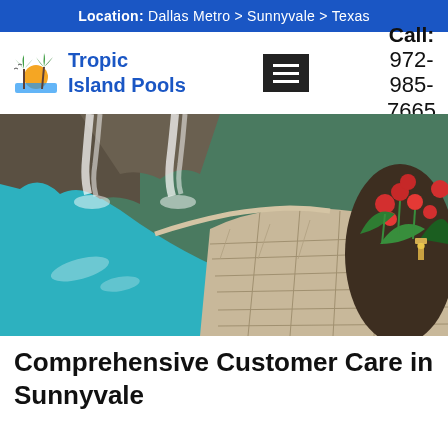Location: Dallas Metro > Sunnyvale > Texas
[Figure (logo): Tropic Island Pools logo with palm trees and sunset icon, blue text]
Call: 972-985-7665
[Figure (photo): Outdoor swimming pool with waterfalls, stone/brick patio edging, red flowers and landscaping]
Comprehensive Customer Care in Sunnyvale